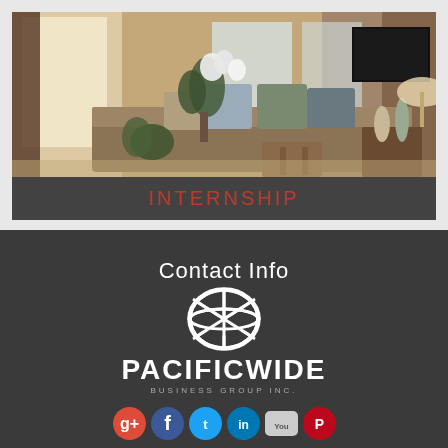[Figure (photo): Interior living room photo with sofa, decorative pillows, plants, curtains, and wall-mounted TV]
INTERNSHIP
Contact Info
[Figure (logo): Pacificwide Business Group Inc. logo — globe icon above text PACIFICWIDE BUSINESS GROUP INC.]
[Figure (infographic): Row of social media icons: Google+, Facebook, Twitter, LinkedIn, YouTube, Pinterest]